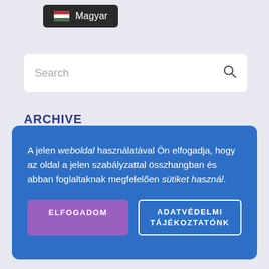[Figure (screenshot): Language selector dropdown showing Hungarian flag and 'Magyar' text on dark background]
[Figure (screenshot): Search input box with placeholder text 'Search' and a magnifying glass icon on the right]
ARCHIVE
A jelen weboldal használatával Ön elfogadja, hogy az oldal a jelen szabályzattal összhangban és abban foglaltaknak megfelelően sütiket használ.
ELFOGADOM
ADATVÉDELMI TÁJÉKOZTATÓNK